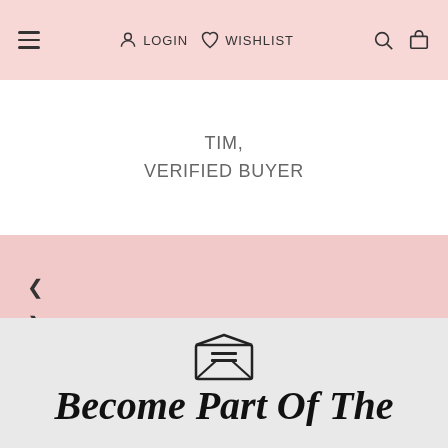Navigation bar with hamburger menu, LOGIN, WISHLIST, search and cart icons
TIM, VERIFIED BUYER
[Figure (screenshot): Pink background carousel section with left and right navigation arrows]
[Figure (illustration): Envelope/email icon on gray background]
Become Part Of The